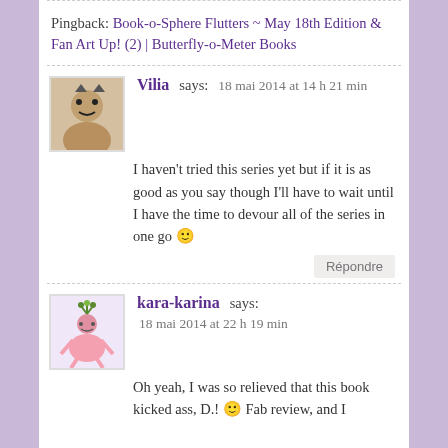Pingback: Book-o-Sphere Flutters ~ May 18th Edition & Fan Art Up! (2) | Butterfly-o-Meter Books
Vilia says: 18 mai 2014 at 14 h 21 min
I haven't tried this series yet but if it is as good as you say though I'll have to wait until I have the time to devour all of the series in one go 🙂
Répondre
kara-karina says: 18 mai 2014 at 22 h 19 min
Oh yeah, I was so relieved that this book kicked ass, D.! 🙂 Fab review, and I